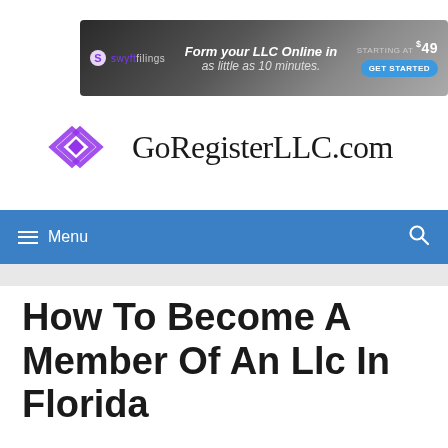[Figure (screenshot): Swyft Filings advertisement banner: 'Form your LLC Online in as little as 10 minutes. Starting at $49 GET STARTED']
[Figure (logo): GoRegisterLLC.com logo with purple diamond/rhombus icon and site name in dark serif text]
Menu
How To Become A Member Of An Llc In Florida